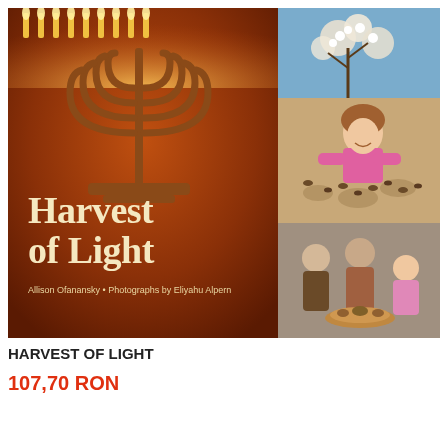[Figure (photo): Book cover of 'Harvest of Light' showing a lit menorah on warm brown background with title text and author name, alongside three smaller photos: flowers/nature scene, a child playing with seeds/nuts, and elderly people with a child around food]
HARVEST OF LIGHT
107,70 RON